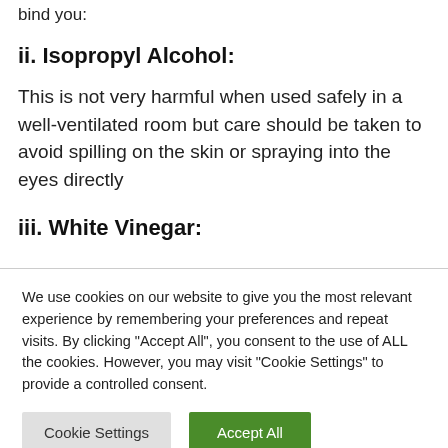bind you:
ii. Isopropyl Alcohol:
This is not very harmful when used safely in a well-ventilated room but care should be taken to avoid spilling on the skin or spraying into the eyes directly
iii. White Vinegar:
We use cookies on our website to give you the most relevant experience by remembering your preferences and repeat visits. By clicking "Accept All", you consent to the use of ALL the cookies. However, you may visit "Cookie Settings" to provide a controlled consent.